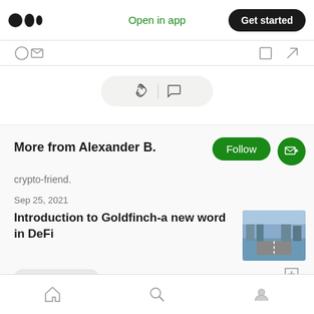Open in app  Get started
[Figure (screenshot): Medium app top navigation bar with logo, 'Open in app' link, and 'Get started' button]
[Figure (screenshot): Interaction bar with clapping hands and comment bubble icons]
More from Alexander B.
crypto-friend.
Sep 25, 2021
Introduction to Goldfinch-a new word in DeFi
Goldfinch Finance  4 min read
Home  Search  Profile